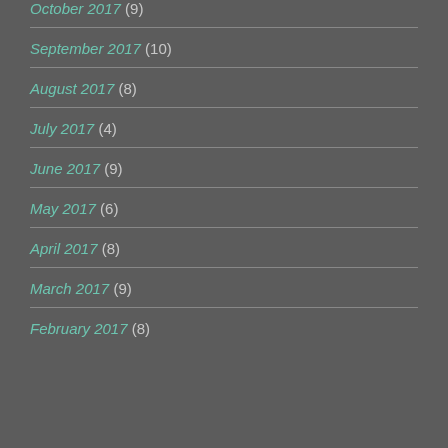October 2017 (9)
September 2017 (10)
August 2017 (8)
July 2017 (4)
June 2017 (9)
May 2017 (6)
April 2017 (8)
March 2017 (9)
February 2017 (8)